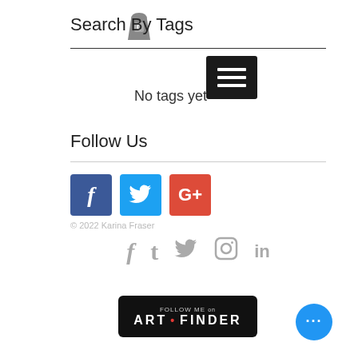Search By Tags
No tags yet
Follow Us
[Figure (screenshot): Social media icons: Facebook (blue), Twitter (light blue), Google+ (red)]
© 2022 Karina Fraser
[Figure (infographic): Gray social media icon row: Facebook, Tumblr, Twitter, Instagram, LinkedIn]
[Figure (logo): Follow Me on ART·FINDER banner button (black background, white text)]